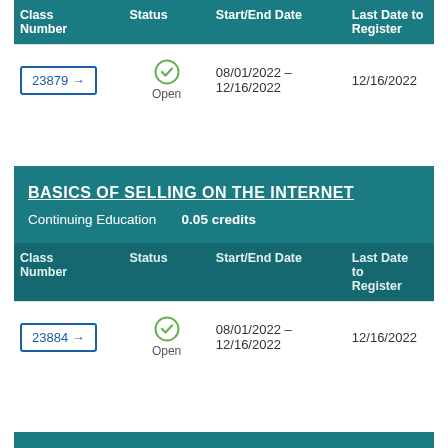| Class Number | Status | Start/End Date | Last Date to Register |
| --- | --- | --- | --- |
| 23879 → | Open | 08/01/2022 – 12/16/2022 | 12/16/2022 |
BASICS OF SELLING ON THE INTERNET
Continuing Education   0.05 credits
| Class Number | Status | Start/End Date | Last Date to Register |
| --- | --- | --- | --- |
| 23884 → | Open | 08/01/2022 – 12/16/2022 | 12/16/2022 |